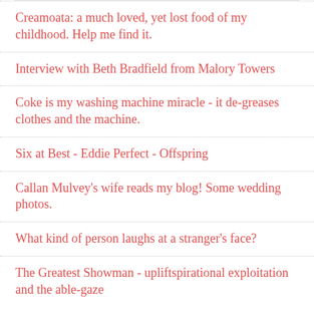Creamoata: a much loved, yet lost food of my childhood. Help me find it.
Interview with Beth Bradfield from Malory Towers
Coke is my washing machine miracle - it de-greases clothes and the machine.
Six at Best - Eddie Perfect - Offspring
Callan Mulvey's wife reads my blog! Some wedding photos.
What kind of person laughs at a stranger's face?
The Greatest Showman - upliftspirational exploitation and the able-gaze